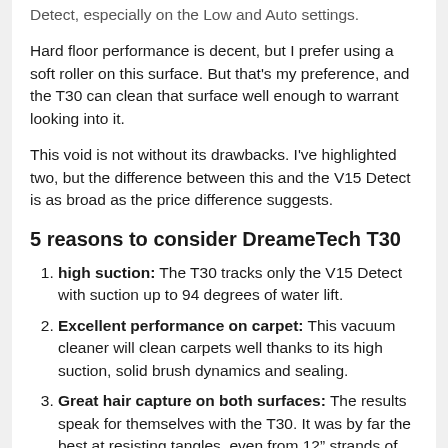Detect, especially on the Low and Auto settings.
Hard floor performance is decent, but I prefer using a soft roller on this surface. But that's my preference, and the T30 can clean that surface well enough to warrant looking into it.
This void is not without its drawbacks. I've highlighted two, but the difference between this and the V15 Detect is as broad as the price difference suggests.
5 reasons to consider DreameTech T30
high suction: The T30 tracks only the V15 Detect with suction up to 94 degrees of water lift.
Excellent performance on carpet: This vacuum cleaner will clean carpets well thanks to its high suction, solid brush dynamics and sealing.
Great hair capture on both surfaces: The results speak for themselves with the T30. It was by far the best at resisting tangles, even from 12” strands of hair.
Portable work environment: Ease of use over floors will